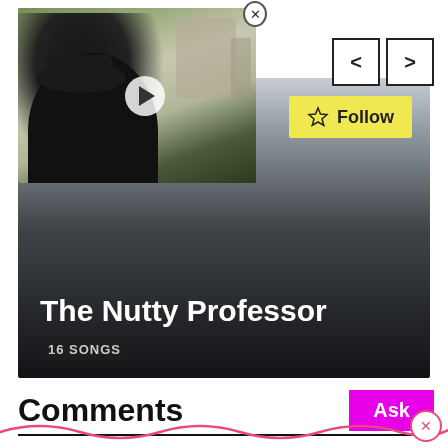[Figure (screenshot): Video thumbnail showing a person sitting outdoors in a hat with a play button overlay. A close (X) button appears at top right of thumbnail.]
[Figure (other): Navigation arrow buttons (left and right chevrons) in square outlines]
[Figure (other): Artist/playlist card with gradient background. Title: The Nutty Professor. 16 SONGS badge. Yellow Follow button with star icon.]
The Nutty Professor
16 SONGS
Comments
Ask
C'mon, there's no such thing as a stupid question. Get the ball rolling and be the first.